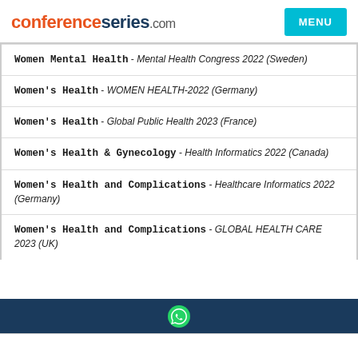conferenceseries.com | MENU
Women Mental Health - Mental Health Congress 2022 (Sweden)
Women's Health - WOMEN HEALTH-2022 (Germany)
Women's Health - Global Public Health 2023 (France)
Women's Health & Gynecology - Health Informatics 2022 (Canada)
Women's Health and Complications - Healthcare Informatics 2022 (Germany)
Women's Health and Complications - GLOBAL HEALTH CARE 2023 (UK)